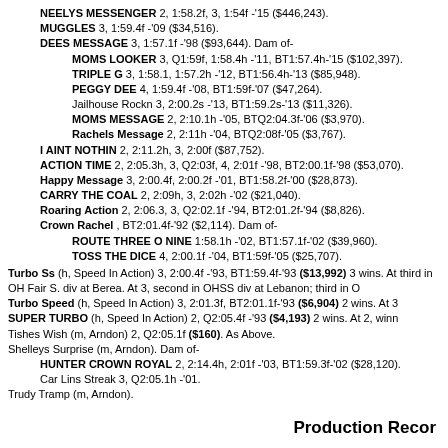NEELYS MESSENGER 2, 1:58.2f, 3, 1:54f -'15 ($446,243).
MUGGLES 3, 1:59.4f -'09 ($34,516).
DEES MESSAGE 3, 1:57.1f -'98 ($93,644). Dam of-
MOMS LOOKER 3, Q1:59f, 1:58.4h -'11, BT1:57.4h-'15 ($102,397).
TRIPLE G 3, 1:58.1, 1:57.2h -'12, BT1:56.4h-'13 ($85,948).
PEGGY DEE 4, 1:59.4f -'08, BT1:59f-'07 ($47,264).
Jailhouse Rockn 3, 2:00.2s -'13, BT1:59.2s-'13 ($11,326).
MOMS MESSAGE 2, 2:10.1h -'05, BTQ2:04.3f-'06 ($3,970).
Rachels Message 2, 2:11h -'04, BTQ2:08f-'05 ($3,767).
I AINT NOTHIN 2, 2:11.2h, 3, 2:00f ($87,752).
ACTION TIME 2, 2:05.3h, 3, Q2:03f, 4, 2:01f -'98, BT2:00.1f-'98 ($53,070).
Happy Message 3, 2:00.4f, 2:00.2f -'01, BT1:58.2f-'00 ($28,873).
CARRY THE COAL 2, 2:09h, 3, 2:02h -'02 ($21,040).
Roaring Action 2, 2:06.3, 3, Q2:02.1f -'94, BT2:01.2f-'94 ($8,826).
Crown Rachel , BT2:01.4f-'92 ($2,114). Dam of-
ROUTE THREE O NINE 1:58.1h -'02, BT1:57.1f-'02 ($39,960).
TOSS THE DICE 4, 2:00.1f -'04, BT1:59f-'05 ($25,707).
Turbo Ss (h, Speed In Action) 3, 2:00.4f -'93, BT1:59.4f-'93 ($13,992) 3 wins. At third in OH Fair S. div at Berea. At 3, second in OHSS div at Lebanon; third in O
Turbo Speed (h, Speed In Action) 3, 2:01.3f, BT2:01.1f-'93 ($6,904) 2 wins. At 3
SUPER TURBO (h, Speed In Action) 2, Q2:05.4f -'93 ($4,193) 2 wins. At 2, winn
Tishes Wish (m, Arndon) 2, Q2:05.1f ($160). As Above.
Shelleys Surprise (m, Arndon). Dam of-
HUNTER CROWN ROYAL 2, 2:14.4h, 2:01f -'03, BT1:59.3f-'02 ($28,120).
Car Lins Streak 3, Q2:05.1h -'01.
Trudy Tramp (m, Arndon).
Production Recor
2016 LUCIUS VORENUS (g, Father Patrick) 2, 1:58, 3, 1:54.3, 1:54.3f -'21, BT1:53 Meadowlands; second in NJSS div at The Meadowlands. At 3, winner of NJG